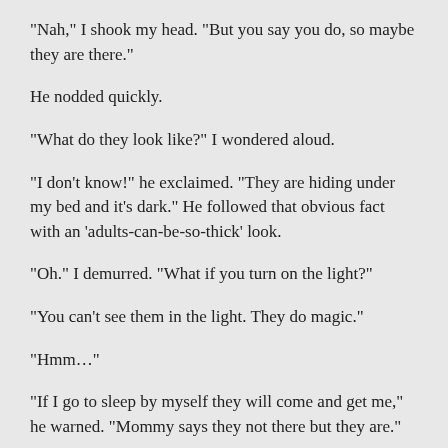“Nah,” I shook my head. “But you say you do, so maybe they are there.”
He nodded quickly.
“What do they look like?” I wondered aloud.
“I don’t know!” he exclaimed. “They are hiding under my bed and it’s dark.” He followed that obvious fact with an ‘adults-can-be-so-thick’ look.
“Oh.” I demurred. “What if you turn on the light?”
“You can’t see them in the light. They do magic.”
“Hmm…”
“If I go to sleep by myself they will come and get me,” he warned. “Mommy says they not there but they are.”